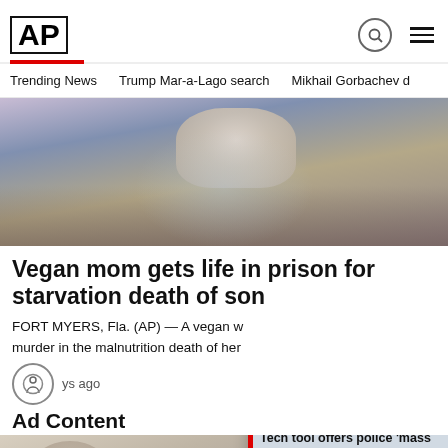AP
Trending News   Trump Mar-a-Lago search   Mikhail Gorbachev d
[Figure (photo): Person in a blue shirt sitting at a table, with hands near face, blurred background]
Vegan mom gets life in prison for starvation death of son
FORT MYERS, Fla. (AP) — A vegan w... murder in the malnutrition death of her...
ys ago
Ad Content
[Figure (photo): Bottom partial image of a person]
[Figure (screenshot): Popup overlay: Tech tool offers police 'mass surveillance on a ...' with blue background image]